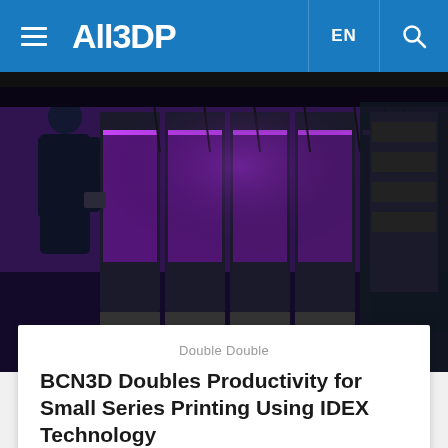All3DP — EN
[Figure (photo): A person standing in front of multiple 3D printers in a production room with purple lighting and black frame printers lined up]
Double Double
BCN3D Doubles Productivity for Small Series Printing Using IDEX Technology
[Figure (photo): Close-up of a white 3D-printed bicycle helmet sitting on the bed of a 3D printer, dark background]